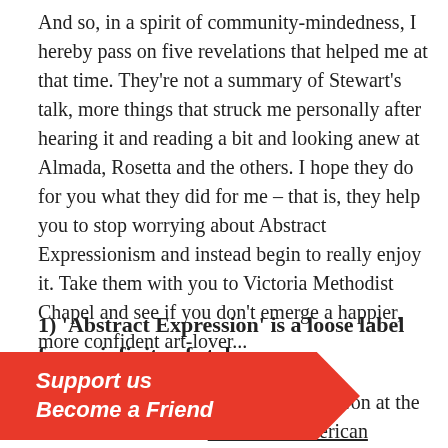And so, in a spirit of community-mindedness, I hereby pass on five revelations that helped me at that time. They're not a summary of Stewart's talk, more things that struck me personally after hearing it and reading a bit and looking anew at Almada, Rosetta and the others. I hope they do for you what they did for me – that is, they help you to stop worrying about Abstract Expressionism and instead begin to really enjoy it. Take them with you to Victoria Methodist Chapel and see if you don't emerge a happier, more confident art-lover...
1) 'Abstract Expression' is a loose label for an infinity of styles
[Figure (other): Red banner promotional overlay with text 'Support us / Become a Friend' in white bold italic text on a red ribbon/flag shape]
…ent for Abstract Expressionism in …on at the Tate in 1959 entitled 'The New American Painting'. Albert Irvin was one of the many young British painters to be blown away by the works of Rothko, Pollock, Willem de Kooning, Barnett Newman and